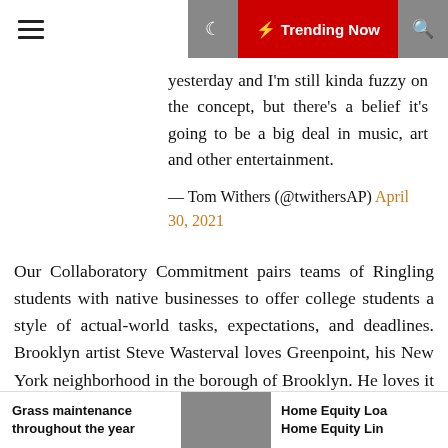Trending Now
yesterday and I'm still kinda fuzzy on the concept, but there's a belief it's going to be a big deal in music, art and other entertainment.
— Tom Withers (@twithersAP) April 30, 2021
Our Collaboratory Commitment pairs teams of Ringling students with native businesses to offer college students a style of actual-world tasks, expectations, and deadlines. Brooklyn artist Steve Wasterval loves Greenpoint, his New York neighborhood in the borough of Brooklyn. He loves it so much, in reality, that he paints tiny Impressionist-fashion avenue scenes of it for its residents to seek out. Art lovers wanting to know whether a mysterious painting discovered in Spain is the work of
Grass maintenance throughout the year | Home Equity Loa Home Equity Lin